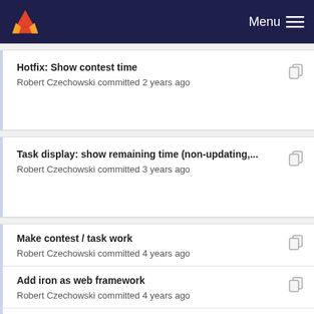Menu
Hotfix: Show contest time
Robert Czechowski committed 2 years ago
Task display: show remaining time (non-updating,...
Robert Czechowski committed 3 years ago
Make contest / task work
Robert Czechowski committed 4 years ago
Add iron as web framework
Robert Czechowski committed 4 years ago
Display group list (stub)
Robert Czechowski committed 4 years ago
Fix all types of objects stored in database to make...
Robert Czechowski committed 3 years ago